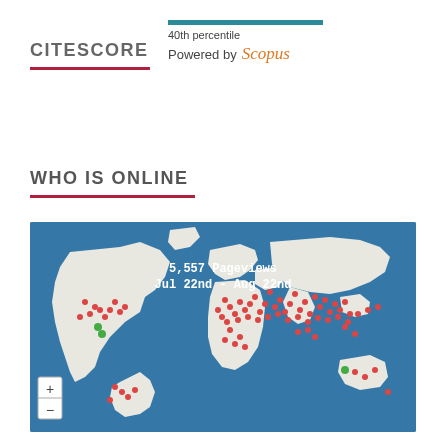CITESCORE
40th percentile
Powered by Scopus
WHO IS ONLINE
[Figure (map): World map showing 5,557 Pageviews from Jul 22nd to Aug 22nd, with red and green dots indicating visitor locations across all continents. Blue ocean background with white landmasses and colored dots.]